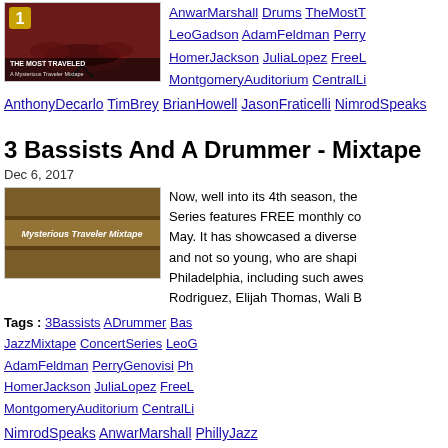[Figure (photo): Album cover for 'The Most Traveled – A Mysterious Traveler Mixtape' with number 1, featuring drum kit image]
AnwarMarshall Drums TheMostT LeoGadson AdamFeldman Perry HomerJackson JuliaLopez FreeL MontgomeryAuditorium CentralLi
AnthonyDecarlo TimBrey BrianHowell JasonFraticelli NimrodSpeaks
3 Bassists And A Drummer - Mixtape
Dec 6, 2017
[Figure (photo): Brown/golden banner for Mysterious Traveler Mixtape]
Now, well into its 4th season, the Series features FREE monthly co May. It has showcased a diverse and not so young, who are shapi Philadelphia, including such awes Rodriguez, Elijah Thomas, Wali B
Tags : 3Bassists ADrummer Bas JazzMixtape ConcertSeries LeoG AdamFeldman PerryGenovisi Ph HomerJackson JuliaLopez FreeL MontgomeryAuditorium CentralLi
NimrodSpeaks AnwarMarshall PhillyJazz